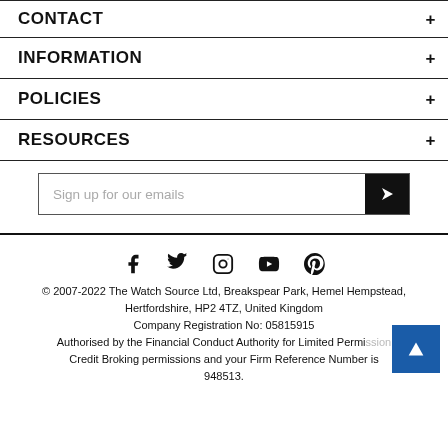CONTACT
INFORMATION
POLICIES
RESOURCES
Sign up for our emails
[Figure (other): Social media icons: Facebook, Twitter, Instagram, YouTube, Pinterest]
© 2007-2022 The Watch Source Ltd, Breakspear Park, Hemel Hempstead, Hertfordshire, HP2 4TZ, United Kingdom Company Registration No: 05815915 Authorised by the Financial Conduct Authority for Limited Permission Credit Broking permissions and your Firm Reference Number is 948513.